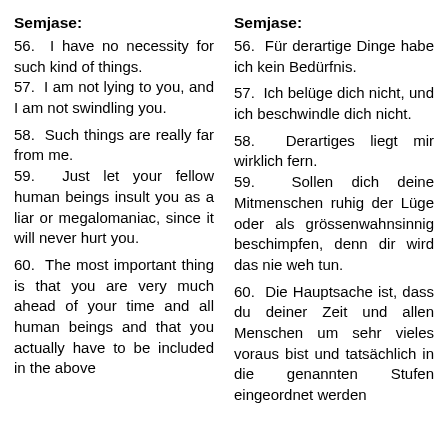Semjase:
56. I have no necessity for such kind of things.
57. I am not lying to you, and I am not swindling you.

58. Such things are really far from me.
59. Just let your fellow human beings insult you as a liar or megalomaniac, since it will never hurt you.

60. The most important thing is that you are very much ahead of your time and all human beings and that you actually have to be included in the above...
Semjase:
56. Für derartige Dinge habe ich kein Bedürfnis.
57. Ich belüge dich nicht, und ich beschwindle dich nicht.
58. Derartiges liegt mir wirklich fern.
59. Sollen dich deine Mitmenschen ruhig der Lüge oder als grössenwahnsinnig beschimpfen, denn dir wird das nie weh tun.
60. Die Hauptsache ist, dass du deiner Zeit und allen Menschen um sehr vieles voraus bist und tatsächlich in die genannten Stufen eingeordnet werden...